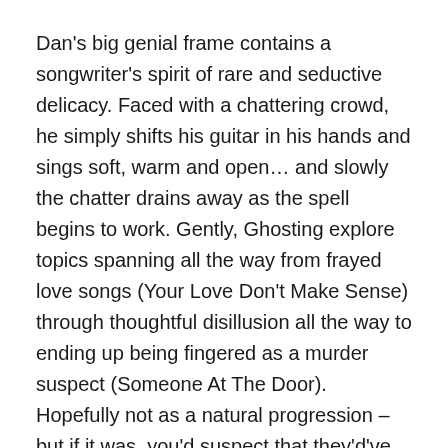Dan's big genial frame contains a songwriter's spirit of rare and seductive delicacy. Faced with a chattering crowd, he simply shifts his guitar in his hands and sings soft, warm and open… and slowly the chatter drains away as the spell begins to work. Gently, Ghosting explore topics spanning all the way from frayed love songs (Your Love Don't Make Sense) through thoughtful disillusion all the way to ending up being fingered as a murder suspect (Someone At The Door). Hopefully not as a natural progression – but if it was, you'd suspect that they'd've illustrated even that story with colossal and convincing sensitivity.
By the time Ghosting are midway through the exquisite, naked plea of I Want You To See Me, the crowd is hushed and half of them are hooked. Dan's flexible and heartfelt